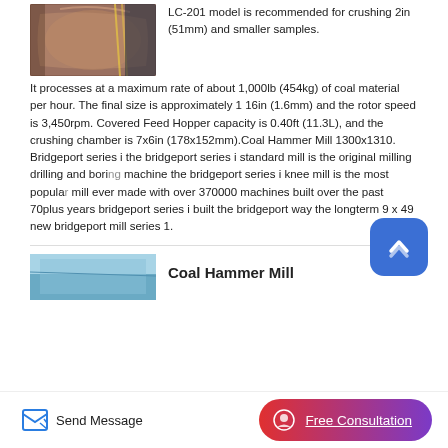[Figure (photo): Close-up photo of industrial mill/crusher equipment showing a curved brown metallic surface with yellow chain or rope visible]
LC-201 model is recommended for crushing 2in (51mm) and smaller samples. It processes at a maximum rate of about 1,000lb (454kg) of coal material per hour. The final size is approximately 1 16in (1.6mm) and the rotor speed is 3,450rpm. Covered Feed Hopper capacity is 0.40ft (11.3L), and the crushing chamber is 7x6in (178x152mm).Coal Hammer Mill 1300x1310. Bridgeport series i the bridgeport series i standard mill is the original milling drilling and boring machine the bridgeport series i knee mill is the most popular mill ever made with over 370000 machines built over the past 70plus years bridgeport series i built the bridgeport way the longterm 9 x 49 new bridgeport mill series 1.
[Figure (photo): Partial photo of industrial equipment, light blue/teal colored machinery]
Coal Hammer Mill